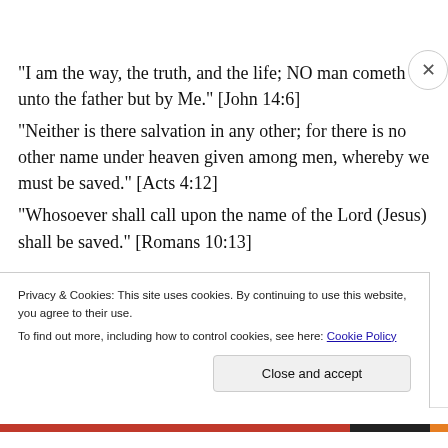“I am the way, the truth, and the life; NO man cometh unto the father but by Me.” [John 14:6]
“Neither is there salvation in any other; for there is no other name under heaven given among men, whereby we must be saved.” [Acts 4:12]
“Whosoever shall call upon the name of the Lord (Jesus) shall be saved.” [Romans 10:13]
Privacy & Cookies: This site uses cookies. By continuing to use this website, you agree to their use.
To find out more, including how to control cookies, see here: Cookie Policy